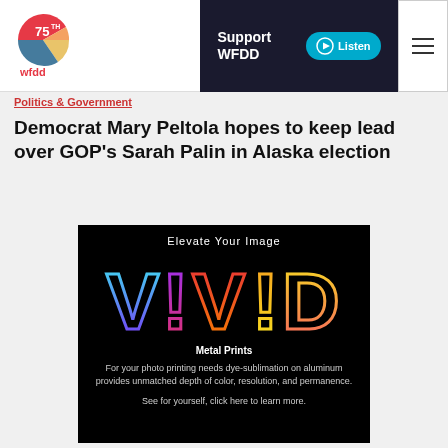WFDD 75th | Support WFDD | Listen
Politics & Government
Democrat Mary Peltola hopes to keep lead over GOP's Sarah Palin in Alaska election
[Figure (advertisement): VIVID Metal Prints advertisement on black background. Text: 'Elevate Your Image' at top, 'VIVID' in large colorful multiline letters (blue, purple, red, orange, yellow), 'Metal Prints' in white bold, 'For your photo printing needs dye-sublimation on aluminum provides unmatched depth of color, resolution, and permanence.', 'See for yourself, click here to learn more.']